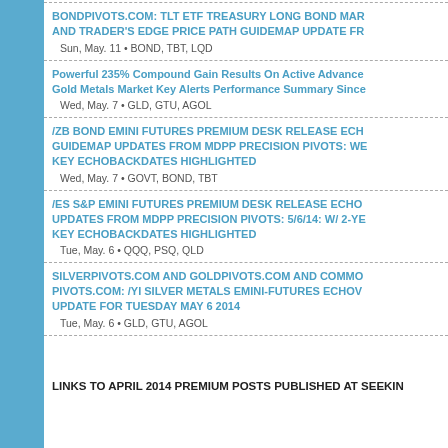BONDPIVOTS.COM: TLT ETF TREASURY LONG BOND MAR AND TRADER'S EDGE PRICE PATH GUIDEMAP UPDATE FR
Sun, May. 11 • BOND, TBT, LQD
Powerful 235% Compound Gain Results On Active Advance Gold Metals Market Key Alerts Performance Summary Since
Wed, May. 7 • GLD, GTU, AGOL
/ZB BOND EMINI FUTURES PREMIUM DESK RELEASE ECH GUIDEMAP UPDATES FROM MDPP PRECISION PIVOTS: WE KEY ECHOBACKDATES HIGHLIGHTED
Wed, May. 7 • GOVT, BOND, TBT
/ES S&P EMINI FUTURES PREMIUM DESK RELEASE ECHO UPDATES FROM MDPP PRECISION PIVOTS: 5/6/14: W/ 2-YE KEY ECHOBACKDATES HIGHLIGHTED
Tue, May. 6 • QQQ, PSQ, QLD
SILVERPIVOTS.COM AND GOLDPIVOTS.COM AND COMMO PIVOTS.COM: /YI SILVER METALS EMINI-FUTURES ECHOV UPDATE FOR TUESDAY MAY 6 2014
Tue, May. 6 • GLD, GTU, AGOL
LINKS TO APRIL 2014 PREMIUM POSTS PUBLISHED AT SEEKIN